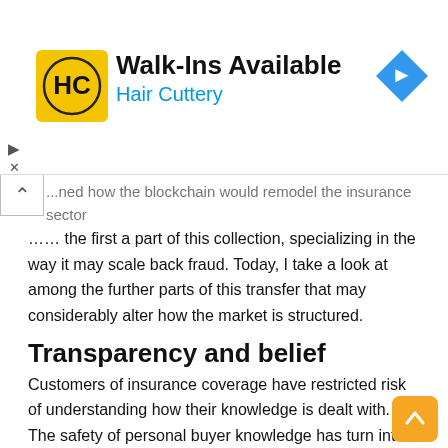[Figure (logo): Hair Cuttery advertisement banner with HC logo, 'Walk-Ins Available' text, 'Hair Cuttery' subtitle in blue, and a blue navigation arrow icon on the right]
...ned how the blockchain would remodel the insurance sector ... the first a part of this collection, specializing in the way it may scale back fraud. Today, I take a look at among the further parts of this transfer that may considerably alter how the market is structured.
Transparency and belief
Customers of insurance coverage have restricted risk of understanding how their knowledge is dealt with. The safety of personal buyer knowledge has turn into extra ambiguous on account of service digitization. Customers who've prolonged declare processing intervals or who've their claims denied for causes that weren't made express within the preliminary contract are likely to turn into an increasing number of dissatisfied on this market local weather characterised by mutual distrust.
The decentralised ledger can provide a number of advantages to the